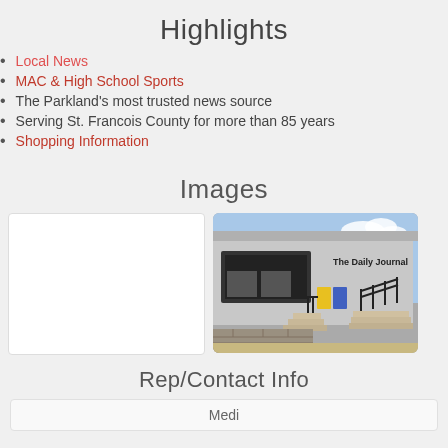Highlights
Local News
MAC & High School Sports
The Parkland's most trusted news source
Serving St. Francois County for more than 85 years
Shopping Information
Images
[Figure (photo): White placeholder box (empty image)]
[Figure (photo): Photo of The Daily Journal building exterior with steps and railings]
Rep/Contact Info
Media